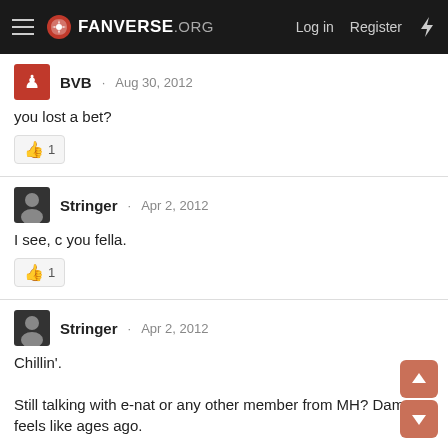FANVERSE.ORG · Log in · Register
BVB · Aug 30, 2012
you lost a bet?
Stringer · Apr 2, 2012
I see, c you fella.
Stringer · Apr 2, 2012
Chillin'.

Still talking with e-nat or any other member from MH? Damn feels like ages ago.